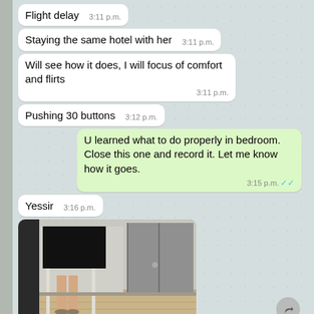Flight delay  3:11 p.m.
Staying the same hotel with her  3:11 p.m.
Will see how it does, I will focus of comfort and flirts  3:11 p.m.
Pushing 30 buttons  3:12 p.m.
U learned what to do properly in bedroom. Close this one and record it. Let me know how it goes.  3:15 p.m.
Yessir  3:16 p.m.
[Figure (photo): Photo of a hotel room with a mirror reflecting a person, censored with a black rectangle over the upper body area. Wooden floor visible.]